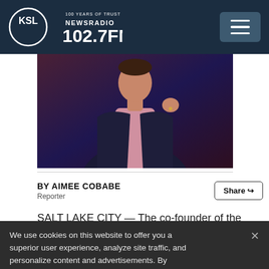KSL NewsRadio 102.7FM
[Figure (photo): Photo of a man in a dark suit and pink dress shirt, gesturing with his right hand, against a dark purple/maroon background]
BY AIMEE COBABE
Reporter
Share
SALT LAKE CITY — The co-founder of the
We use cookies on this website to offer you a superior user experience, analyze site traffic, and personalize content and advertisements. By continuing to use our site, you consent to our use of cookies. Please visit our Privacy Policy for more information.
Accept Cookies